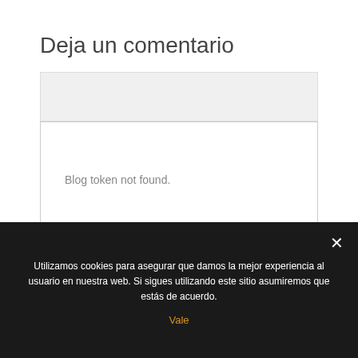Deja un comentario
[Figure (screenshot): A web form area with gray background input field at top and a white comment box showing 'Blog token not found.' message, followed by another gray strip below]
Blog token not found.
Utilizamos cookies para asegurar que damos la mejor experiencia al usuario en nuestra web. Si sigues utilizando este sitio asumiremos que estás de acuerdo.
Vale